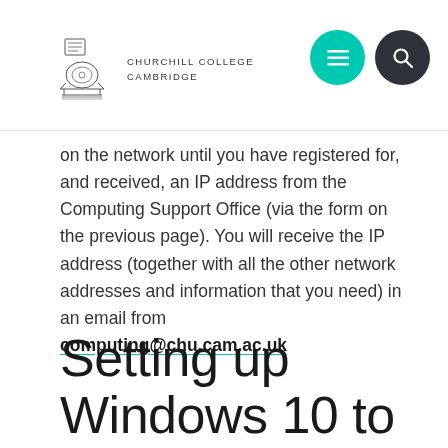Churchill College Cambridge
on the network until you have registered for, and received, an IP address from the Computing Support Office (via the form on the previous page). You will receive the IP address (together with all the other network addresses and information that you need) in an email from computing@chu.cam.ac.uk
Setting up Windows 10 to use the Internet